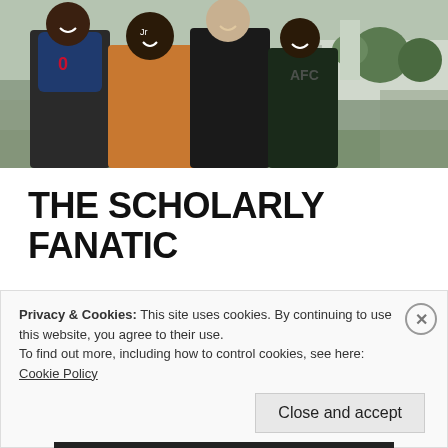[Figure (photo): Group photo of four men smiling outdoors at what appears to be a sporting event, with a crowd and buses in the background. One man is wearing a Houston Texans jersey.]
THE SCHOLARLY FANATIC
Month: May 2019
I Think I'm on
Privacy & Cookies: This site uses cookies. By continuing to use this website, you agree to their use.
To find out more, including how to control cookies, see here: Cookie Policy
Close and accept